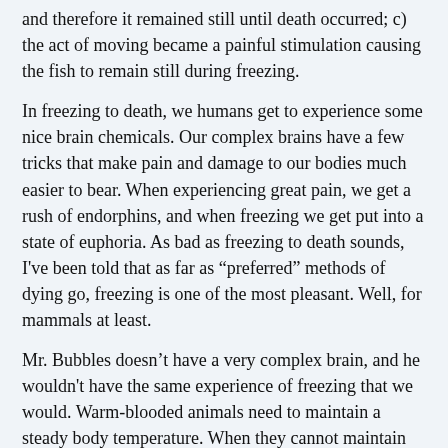and therefore it remained still until death occurred; c) the act of moving became a painful stimulation causing the fish to remain still during freezing.
In freezing to death, we humans get to experience some nice brain chemicals. Our complex brains have a few tricks that make pain and damage to our bodies much easier to bear. When experiencing great pain, we get a rush of endorphins, and when freezing we get put into a state of euphoria. As bad as freezing to death sounds, I've been told that as far as “preferred” methods of dying go, freezing is one of the most pleasant. Well, for mammals at least.
Mr. Bubbles doesn’t have a very complex brain, and he wouldn't have the same experience of freezing that we would. Warm-blooded animals need to maintain a steady body temperature. When they cannot maintain their body heat, their health declines and the brain puts the chemical factory into over-time in an attempt to soften the blow of the trauma.
Since most fish commonly kept in aquaria are endothermic,